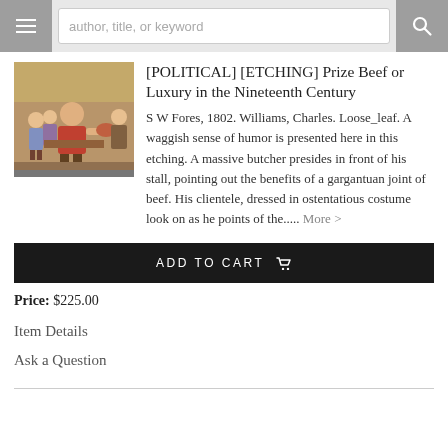author, title, or keyword
[POLITICAL] [ETCHING] Prize Beef or Luxury in the Nineteenth Century
S W Fores, 1802. Williams, Charles. Loose_leaf. A waggish sense of humor is presented here in this etching. A massive butcher presides in front of his stall, pointing out the benefits of a gargantuan joint of beef. His clientele, dressed in ostentatious costume look on as he points of the..... More >
[Figure (illustration): Historical colored etching showing figures around a butcher stall]
ADD TO CART
Price: $225.00
Item Details
Ask a Question